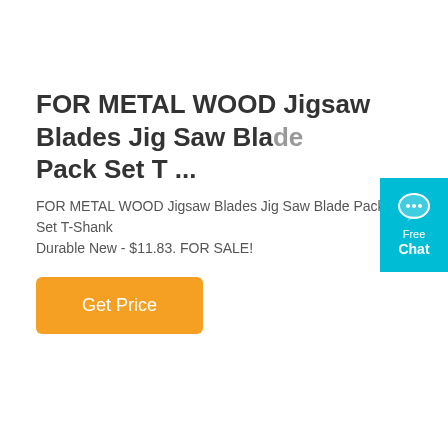FOR METAL WOOD Jigsaw Blades Jig Saw Blade Pack Set T ...
FOR METAL WOOD Jigsaw Blades Jig Saw Blade Pack Set T-Shank Durable New - $11.83. FOR SALE!
[Figure (other): Orange 'Get Price' button]
[Figure (other): Teal 'Free Chat' live chat widget button with speech bubble icon in top right corner]